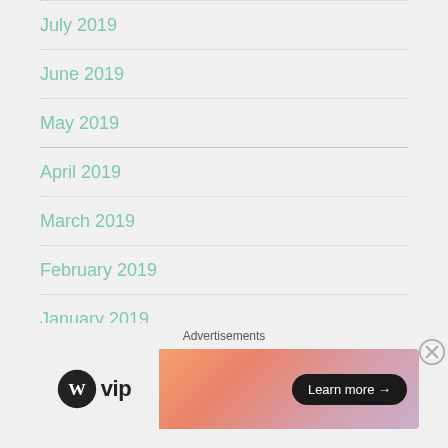July 2019
June 2019
May 2019
April 2019
March 2019
February 2019
January 2019
December 2018
[Figure (advertisement): Advertisement banner with WordPress VIP logo on the left and a gradient orange-pink banner with 'Learn more →' button on the right. A close (X) button appears in the upper right.]